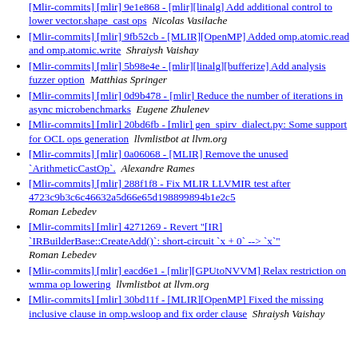[Mlir-commits] [mlir] 9e1e868 - [mlir][linalg] Add additional control to lower vector.shape_cast ops  Nicolas Vasilache
[Mlir-commits] [mlir] 9fb52cb - [MLIR][OpenMP] Added omp.atomic.read and omp.atomic.write  Shraiysh Vaishay
[Mlir-commits] [mlir] 5b98e4e - [mlir][linalg][bufferize] Add analysis fuzzer option  Matthias Springer
[Mlir-commits] [mlir] 0d9b478 - [mlir] Reduce the number of iterations in async microbenchmarks  Eugene Zhulenev
[Mlir-commits] [mlir] 20bd6fb - [mlir] gen_spirv_dialect.py: Some support for OCL ops generation  llvmlistbot at llvm.org
[Mlir-commits] [mlir] 0a06068 - [MLIR] Remove the unused `ArithmeticCastOp`.  Alexandre Rames
[Mlir-commits] [mlir] 288f1f8 - Fix MLIR LLVMIR test after 4723c9b3c6c46632a5d66e65d198899894b1e2c5  Roman Lebedev
[Mlir-commits] [mlir] 4271269 - Revert "[IR] `IRBuilderBase::CreateAdd()`: short-circuit `x + 0` --> `x`"  Roman Lebedev
[Mlir-commits] [mlir] eacd6e1 - [mlir][GPUtoNVVM] Relax restriction on wmma op lowering  llvmlistbot at llvm.org
[Mlir-commits] [mlir] 30bd11f - [MLIR][OpenMP] Fixed the missing inclusive clause in omp.wsloop and fix order clause  Shraiysh Vaishay